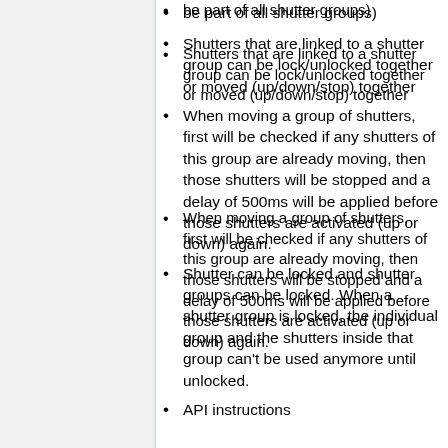be part of all shutter groups)
Shutters that are linked to a shutter group can be lock/unlocked together or moved (up/down/stop) together
When moving a group of shutters, first will be checked if any shutters of this group are already moving, then those shutters will be stopped and a delay of 500ms will be applied before those shutters are activated (up or down) again.
Shutter can be locked and shutter groups can be locked. When a shutter group is locked, the individual group and the shutters inside that group can't be used anymore until unlocked.
API instructions